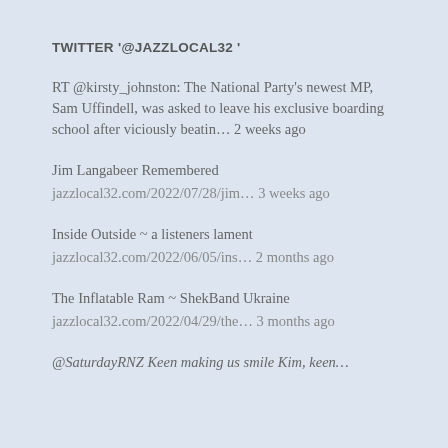TWITTER '@JAZZLOCAL32 '
RT @kirsty_johnston: The National Party's newest MP, Sam Uffindell, was asked to leave his exclusive boarding school after viciously beatin... 2 weeks ago
Jim Langabeer Remembered
jazzlocal32.com/2022/07/28/jim... 3 weeks ago
Inside Outside ~ a listeners lament
jazzlocal32.com/2022/06/05/ins... 2 months ago
The Inflatable Ram ~ ShekBand Ukraine
jazzlocal32.com/2022/04/29/the... 3 months ago
@SaturdayRNZ Keen making us smile Kim, keen...